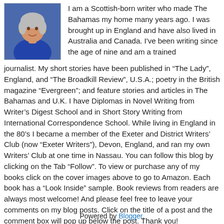[Figure (photo): Headshot photo of a woman with short grey hair wearing a blue top]
I am a Scottish-born writer who made The Bahamas my home many years ago. I was brought up in England and have also lived in Australia and Canada. I've been writing since the age of nine and am a trained journalist. My short stories have been published in “The Lady”, England, and “The Broadkill Review”, U.S.A.; poetry in the British magazine “Evergreen”; and feature stories and articles in The Bahamas and U.K. I have Diplomas in Novel Writing from Writer’s Digest School and in Short Story Writing from International Correspondence School. While living in England in the 80’s I became a member of the Exeter and District Writers’ Club (now “Exeter Writers”), Devon, England, and ran my own Writers’ Club at one time in Nassau. You can follow this blog by clicking on the Tab “Follow”. To view or purchase any of my books click on the cover images above to go to Amazon. Each book has a “Look Inside” sample. Book reviews from readers are always most welcome! And please feel free to leave your comments on my blog posts. Click on the title of a post and the comment box will pop up below the post. Thank you!
View my complete profile
Powered by Blogger.